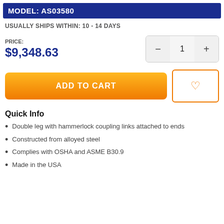MODEL: AS03580
USUALLY SHIPS WITHIN: 10 - 14 DAYS
PRICE: $9,348.63
ADD TO CART
Quick Info
Double leg with hammerlock coupling links attached to ends
Constructed from alloyed steel
Complies with OSHA and ASME B30.9
Made in the USA